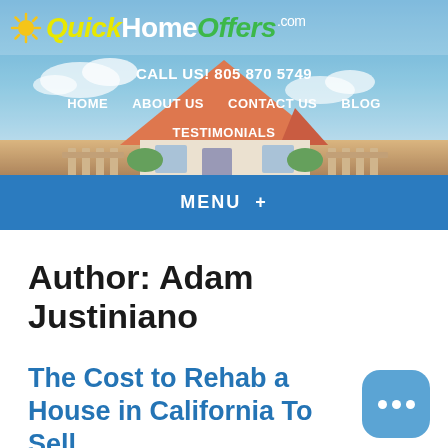[Figure (screenshot): QuickHomeOffers.com website header with logo, navigation links (HOME, ABOUT US, CONTACT US, BLOG, TESTIMONIALS), phone number, house illustration background, and blue MENU bar]
Author: Adam Justiniano
The Cost to Rehab a House in California To Sell